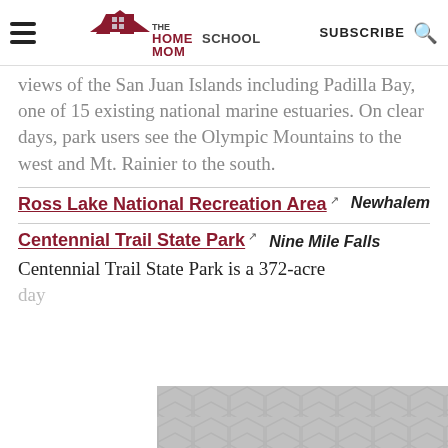THE HOMESCHOOL MOM – Over 20 Years of Helping Homeschoolers! | SUBSCRIBE
views of the San Juan Islands including Padilla Bay, one of 15 existing national marine estuaries. On clear days, park users see the Olympic Mountains to the west and Mt. Rainier to the south.
Ross Lake National Recreation Area
Newhalem
Centennial Trail State Park
Nine Mile Falls
Centennial Trail State Park is a 372-acre day-use con…